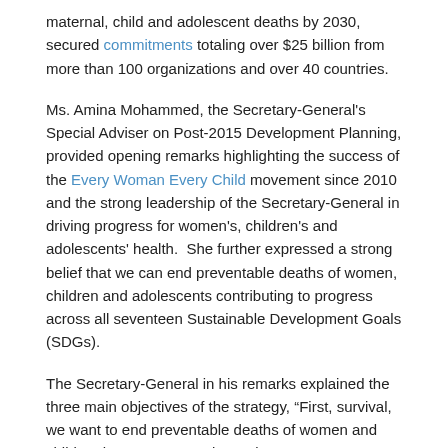maternal, child and adolescent deaths by 2030, secured commitments totaling over $25 billion from more than 100 organizations and over 40 countries.
Ms. Amina Mohammed, the Secretary-General's Special Adviser on Post-2015 Development Planning, provided opening remarks highlighting the success of the Every Woman Every Child movement since 2010 and the strong leadership of the Secretary-General in driving progress for women's, children's and adolescents' health.  She further expressed a strong belief that we can end preventable deaths of women, children and adolescents contributing to progress across all seventeen Sustainable Development Goals (SDGs).
The Secretary-General in his remarks explained the three main objectives of the strategy, "First, survival, we want to end preventable deaths of women and children by 2030. Second, we aim to ensure every woman, child and